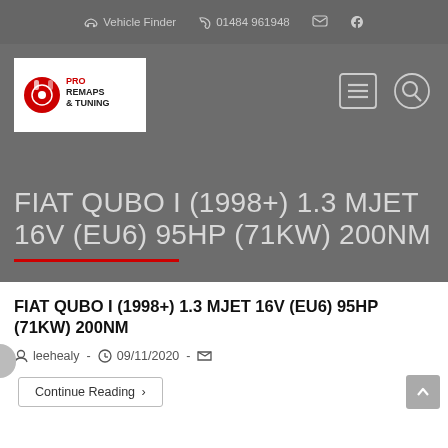Vehicle Finder  01484 961948
[Figure (logo): Pro Remaps & Tuning logo — white box with red turbo icon and bold text]
FIAT QUBO I (1998+) 1.3 MJET 16V (EU6) 95HP (71KW) 200NM
FIAT QUBO I (1998+) 1.3 MJET 16V (EU6) 95HP (71KW) 200NM
leehealy - 09/11/2020 -
Continue Reading